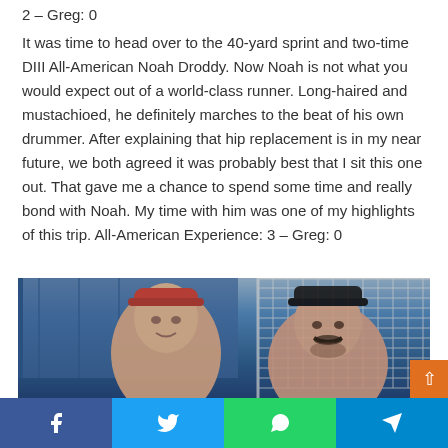2 – Greg: 0
It was time to head over to the 40-yard sprint and two-time DIII All-American Noah Droddy. Now Noah is not what you would expect out of a world-class runner. Long-haired and mustachioed, he definitely marches to the beat of his own drummer. After explaining that hip replacement is in my near future, we both agreed it was probably best that I sit this one out. That gave me a chance to spend some time and really bond with Noah. My time with him was one of my highlights of this trip. All-American Experience: 3 – Greg: 0
[Figure (photo): Two men posing for a selfie photo indoors near a sports net/goal. The man on the left is older, wearing a backwards cap. The man on the right is younger with a mustache and dark flat-brim cap.]
Facebook | Twitter | WhatsApp | Telegram social share buttons